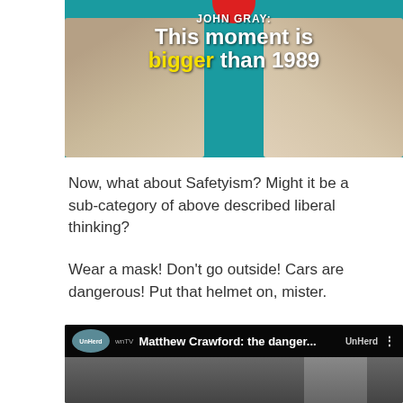[Figure (screenshot): UnHerd TV thumbnail featuring John Gray with text overlay: 'JOHN GRAY: This moment is bigger than 1989'. Two people visible on either side with teal background.]
Now, what about Safetyism? Might it be a sub-category of above described liberal thinking?
Wear a mask! Don't go outside! Cars are dangerous! Put that helmet on, mister.
No, really, put it on.
Matthew Crawford discusses:
[Figure (screenshot): UnHerd TV video thumbnail for 'Matthew Crawford: the danger...' with UnHerd logo and person visible at bottom.]